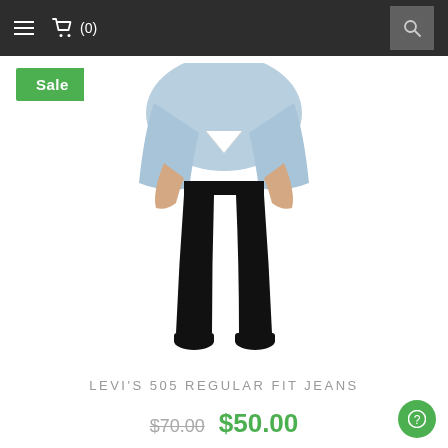≡  🛒 (0)  🔍
Sale
[Figure (photo): Man wearing black Levi's 505 Regular Fit Jeans with a light blue denim jacket and black shoes, shown from waist down]
LEVI'S 505 REGULAR FIT JEANS
$70.00  $50.00